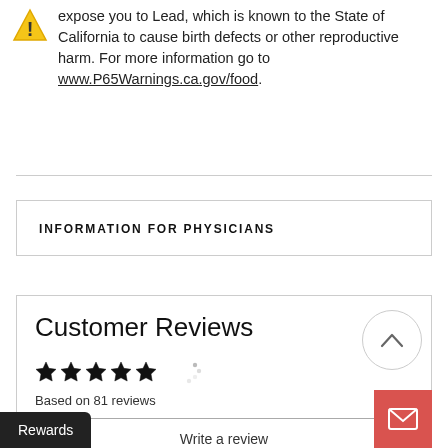expose you to Lead, which is known to the State of California to cause birth defects or other reproductive harm. For more information go to www.P65Warnings.ca.gov/food.
INFORMATION FOR PHYSICIANS
Customer Reviews
Based on 81 reviews
Write a review
Rewards